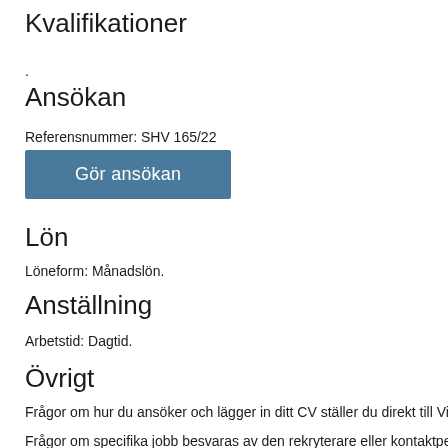Kvalifikationer
.
Ansökan
Referensnummer:  SHV 165/22
[Figure (other): Button labeled 'Gör ansökan' in steel blue color]
Lön
Löneform: Månadslön.
Anställning
Arbetstid: Dagtid.
Övrigt
Frågor om hur du ansöker och lägger in ditt CV ställer du direkt till Visme
Frågor om specifika jobb besvaras av den rekryterare eller kontaktpe